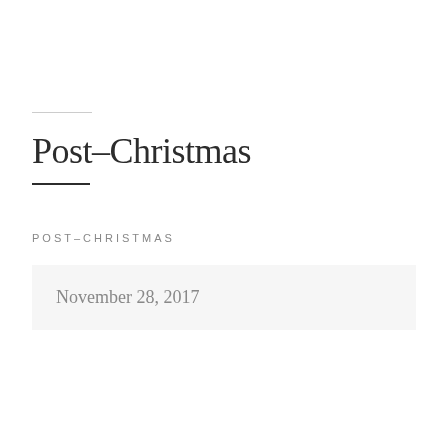Post-Christmas
POST-CHRISTMAS
November 28, 2017